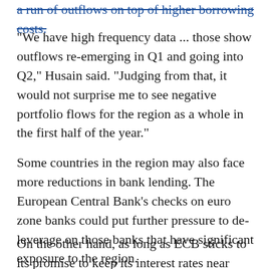a run of outflows on top of higher borrowing costs.
"We have high frequency data ... those show outflows re-emerging in Q1 and going into Q2," Husain said. "Judging from that, it would not surprise me to see negative portfolio flows for the region as a whole in the first half of the year."
Some countries in the region may also face more reductions in bank lending. The European Central Bank's checks on euro zone banks could put further pressure to de-leverage on those banks that have significant exposure to the region.
On the other hand, as long as ECB sticks to its promise to keep its interest rates near zero, it could